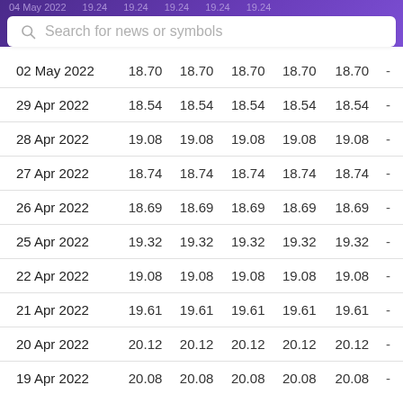04 May 2022   19.24   19.24   19.24   19.24   19.24
Search for news or symbols
| Date | Col1 | Col2 | Col3 | Col4 | Col5 |  |
| --- | --- | --- | --- | --- | --- | --- |
| 02 May 2022 | 18.70 | 18.70 | 18.70 | 18.70 | 18.70 | - |
| 29 Apr 2022 | 18.54 | 18.54 | 18.54 | 18.54 | 18.54 | - |
| 28 Apr 2022 | 19.08 | 19.08 | 19.08 | 19.08 | 19.08 | - |
| 27 Apr 2022 | 18.74 | 18.74 | 18.74 | 18.74 | 18.74 | - |
| 26 Apr 2022 | 18.69 | 18.69 | 18.69 | 18.69 | 18.69 | - |
| 25 Apr 2022 | 19.32 | 19.32 | 19.32 | 19.32 | 19.32 | - |
| 22 Apr 2022 | 19.08 | 19.08 | 19.08 | 19.08 | 19.08 | - |
| 21 Apr 2022 | 19.61 | 19.61 | 19.61 | 19.61 | 19.61 | - |
| 20 Apr 2022 | 20.12 | 20.12 | 20.12 | 20.12 | 20.12 | - |
| 19 Apr 2022 | 20.08 | 20.08 | 20.08 | 20.08 | 20.08 | - |